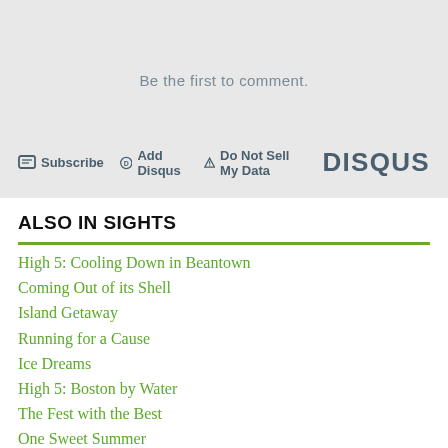Be the first to comment.
Subscribe  Add Disqus  Do Not Sell My Data  DISQUS
ALSO IN SIGHTS
High 5: Cooling Down in Beantown
Coming Out of its Shell
Island Getaway
Running for a Cause
Ice Dreams
High 5: Boston by Water
The Fest with the Best
One Sweet Summer
High 5: Summer Beer Gardens